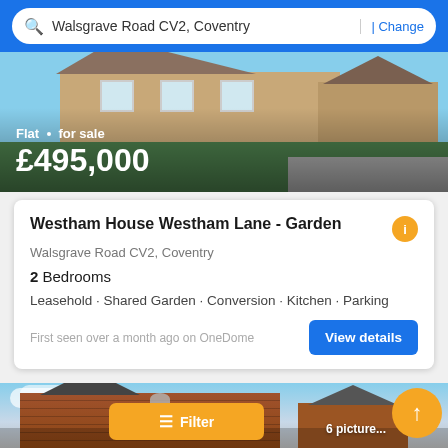Walsgrave Road CV2, Coventry | Change
[Figure (photo): Exterior photograph of brick residential property with garden, used as listing header image. Shows text overlay: Flat · for sale £495,000]
Flat · for sale
£495,000
Westham House Westham Lane - Garden
Walsgrave Road CV2, Coventry
2 Bedrooms
Leasehold · Shared Garden · Conversion · Kitchen · Parking
First seen over a month ago on OneDome
View details
[Figure (photo): Exterior photograph of a red brick building against a cloudy sky, second property listing image with Filter button and 6 pictures badge overlay]